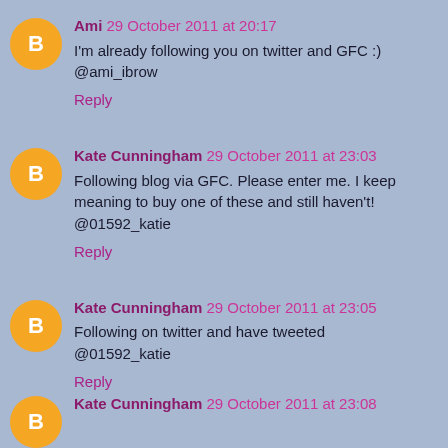Ami 29 October 2011 at 20:17
I'm already following you on twitter and GFC :)
@ami_ibrow
Reply
Kate Cunningham 29 October 2011 at 23:03
Following blog via GFC. Please enter me. I keep meaning to buy one of these and still haven't!
@01592_katie
Reply
Kate Cunningham 29 October 2011 at 23:05
Following on twitter and have tweeted
@01592_katie
Reply
Kate Cunningham 29 October 2011 at 23:08